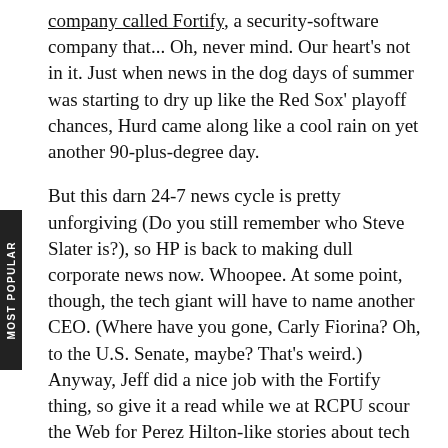company called Fortify, a security-software company that... Oh, never mind. Our heart's not in it. Just when news in the dog days of summer was starting to dry up like the Red Sox' playoff chances, Hurd came along like a cool rain on yet another 90-plus-degree day.

But this darn 24-7 news cycle is pretty unforgiving (Do you still remember who Steve Slater is?), so HP is back to making dull corporate news now. Whoopee. At some point, though, the tech giant will have to name another CEO. (Where have you gone, Carly Fiorina? Oh, to the U.S. Senate, maybe? That's weird.) Anyway, Jeff did a nice job with the Fortify thing, so give it a read while we at RCPU scour the Web for Perez Hilton-like stories about tech CEOs.
Posted by Lee Pender on August 18, 2010 at 11:56 AM